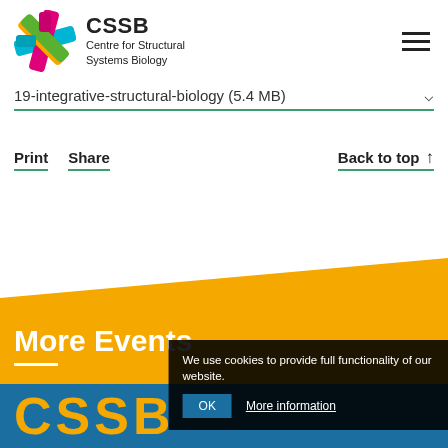[Figure (logo): CSSB Centre for Structural Systems Biology logo with colorful cross/star shape and text]
19-integrative-structural-biology (5.4 MB)
Print
Share
Back to top ↑
More Events
[Figure (screenshot): Cookie consent banner with text: We use cookies to provide full functionality of our website. OK | More information]